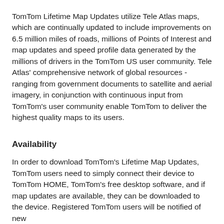TomTom Lifetime Map Updates utilize Tele Atlas maps, which are continually updated to include improvements on 6.5 million miles of roads, millions of Points of Interest and map updates and speed profile data generated by the millions of drivers in the TomTom US user community. Tele Atlas' comprehensive network of global resources - ranging from government documents to satellite and aerial imagery, in conjunction with continuous input from TomTom's user community enable TomTom to deliver the highest quality maps to its users.
Availability
In order to download TomTom's Lifetime Map Updates, TomTom users need to simply connect their device to TomTom HOME, TomTom's free desktop software, and if map updates are available, they can be downloaded to the device. Registered TomTom users will be notified of new